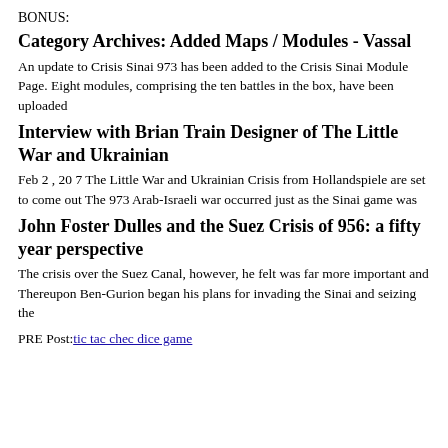BONUS:
Category Archives: Added Maps / Modules - Vassal
An update to Crisis Sinai 973 has been added to the Crisis Sinai Module Page. Eight modules, comprising the ten battles in the box, have been uploaded
Interview with Brian Train Designer of The Little War and Ukrainian
Feb 2 , 20 7 The Little War and Ukrainian Crisis from Hollandspiele are set to come out The 973 Arab-Israeli war occurred just as the Sinai game was
John Foster Dulles and the Suez Crisis of 956: a fifty year perspective
The crisis over the Suez Canal, however, he felt was far more important and Thereupon Ben-Gurion began his plans for invading the Sinai and seizing the
PRE Post: tic tac chec dice game